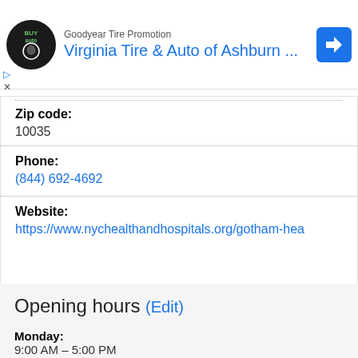[Figure (screenshot): Advertisement banner for Virginia Tire & Auto of Ashburn with logo and navigation arrow icon]
Zip code:
10035
Phone:
(844) 692-4692
Website:
https://www.nychealthandhospitals.org/gotham-hea
Opening hours (Edit)
Monday: 9:00 AM – 5:00 PM
Tuesday: 9:00 AM – 5:00 PM
Wednesday: 9:00 AM – 5:00 PM
Thursday: 9:00 AM – 5:00 PM